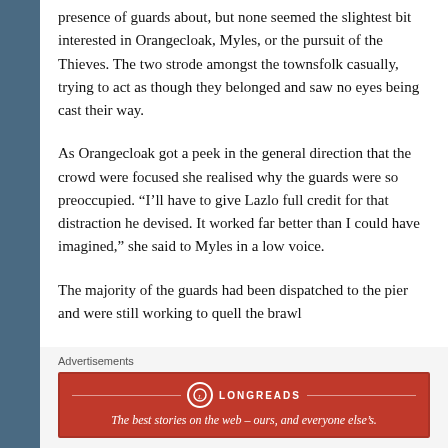presence of guards about, but none seemed the slightest bit interested in Orangecloak, Myles, or the pursuit of the Thieves. The two strode amongst the townsfolk casually, trying to act as though they belonged and saw no eyes being cast their way.
As Orangecloak got a peek in the general direction that the crowd were focused she realised why the guards were so preoccupied. “I’ll have to give Lazlo full credit for that distraction he devised. It worked far better than I could have imagined,” she said to Myles in a low voice.
The majority of the guards had been dispatched to the pier and were still working to quell the brawl
Advertisements
[Figure (other): Longreads advertisement banner in red with logo and tagline: The best stories on the web – ours, and everyone else’s.]